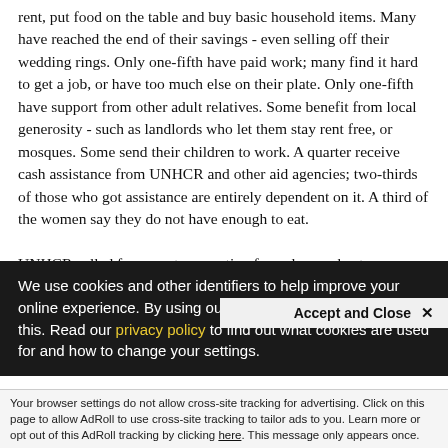rent, put food on the table and buy basic household items. Many have reached the end of their savings - even selling off their wedding rings. Only one-fifth have paid work; many find it hard to get a job, or have too much else on their plate. Only one-fifth have support from other adult relatives. Some benefit from local generosity - such as landlords who let them stay rent free, or mosques. Some send their children to work. A quarter receive cash assistance from UNHCR and other aid agencies; two-thirds of those who got assistance are entirely dependent on it. A third of the women say they do not have enough to eat.
UNHCR called for urgent new action from donors, host governments and aid agencies. “For hundreds of thousands
We use cookies and other identifiers to help improve your online experience. By using our website you are agreeing to this. Read our privacy policy to find out what cookies are used for and how to change your settings.
Accept and Close ×
Your browser settings do not allow cross-site tracking for advertising. Click on this page to allow AdRoll to use cross-site tracking to tailor ads to you. Learn more or opt out of this AdRoll tracking by clicking here. This message only appears once.